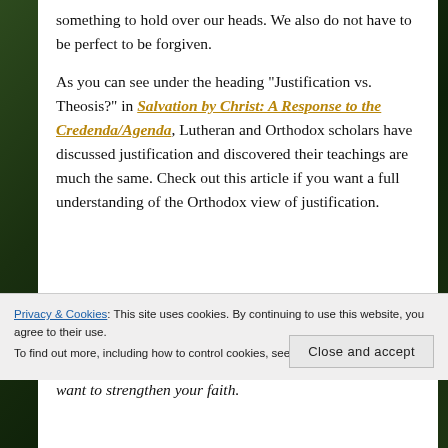something to hold over our heads.  We also do not have to be perfect to be forgiven.
As you can see under the heading "Justification vs. Theosis?" in Salvation by Christ: A Response to the Credenda/Agenda, Lutheran and Orthodox scholars have discussed justification and discovered their teachings are much the same.  Check out this article if you want a full understanding of the Orthodox view of justification.
Privacy & Cookies: This site uses cookies. By continuing to use this website, you agree to their use.
To find out more, including how to control cookies, see here: Cookie Policy
want to strengthen your faith.